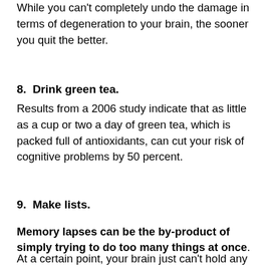While you can't completely undo the damage in terms of degeneration to your brain, the sooner you quit the better.
8.  Drink green tea.
Results from a 2006 study indicate that as little as a cup or two a day of green tea, which is packed full of antioxidants, can cut your risk of cognitive problems by 50 percent.
9.  Make lists.
Memory lapses can be the by-product of simply trying to do too many things at once.
At a certain point, your brain just can't hold any